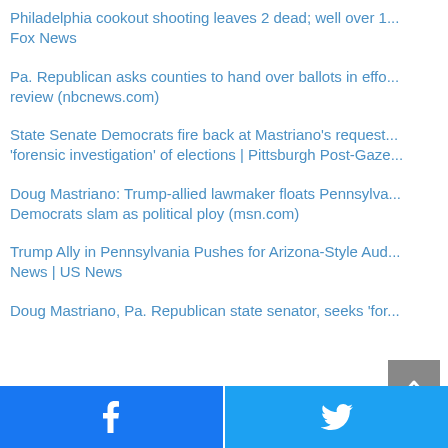Philadelphia cookout shooting leaves 2 dead; well over 1... Fox News
Pa. Republican asks counties to hand over ballots in effo... review (nbcnews.com)
State Senate Democrats fire back at Mastriano's request... 'forensic investigation' of elections | Pittsburgh Post-Gaze...
Doug Mastriano: Trump-allied lawmaker floats Pennsylva... Democrats slam as political ploy (msn.com)
Trump Ally in Pennsylvania Pushes for Arizona-Style Aud... News | US News
Doug Mastriano, Pa. Republican state senator, seeks 'for...